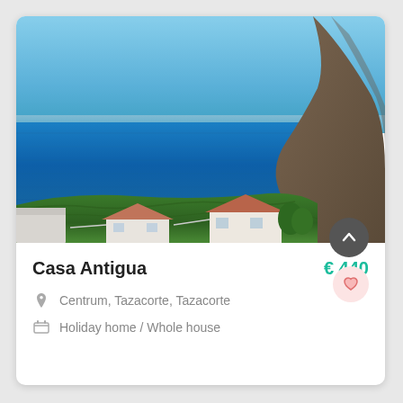[Figure (photo): Aerial/elevated view of a coastal scene with bright blue ocean, green banana plantation fields, white houses with terracotta roofs, and a rocky cliff on the right side under a clear blue sky.]
Casa Antigua
€ 440
Centrum, Tazacorte, Tazacorte
Holiday home / Whole house